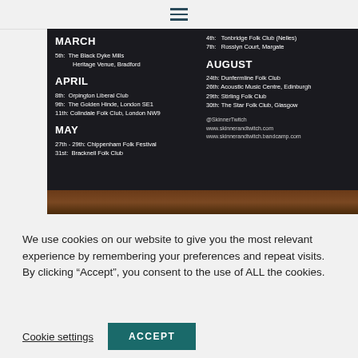☰ (hamburger menu icon)
[Figure (other): Dark poster/flyer for Skinner & Twitch folk music gigs. Left column: MARCH heading, 5th: The Black Dyke Mills Heritage Venue, Bradford. APRIL heading, 8th: Orpington Liberal Club, 9th: The Golden Hinde London SE1, 11th: Colindale Folk Club London NW9. MAY heading, 27th-29th: Chippenham Folk Festival, 31st: Bracknell Folk Club. Right column: 4th: Tonbridge Folk Club (Nelles), 7th: Rosslyn Court Margate. AUGUST heading, 24th: Dunfermline Folk Club, 26th: Acoustic Music Centre Edinburgh, 29th: Stirling Folk Club, 30th: The Star Folk Club Glasgow. @SkinnerTwitch, www.skinnerandtwitch.com, www.skinnerandtwitch.bandcamp.com]
We use cookies on our website to give you the most relevant experience by remembering your preferences and repeat visits. By clicking “Accept”, you consent to the use of ALL the cookies.
Cookie settings   ACCEPT